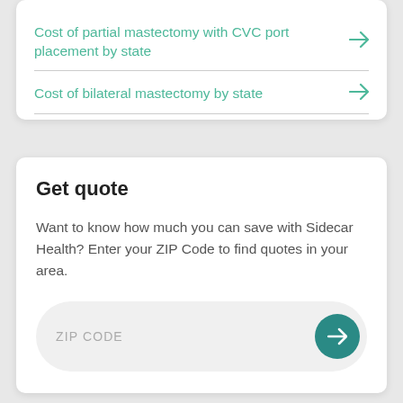Cost of partial mastectomy with CVC port placement by state →
Cost of bilateral mastectomy by state →
Get quote
Want to know how much you can save with Sidecar Health? Enter your ZIP Code to find quotes in your area.
ZIP CODE